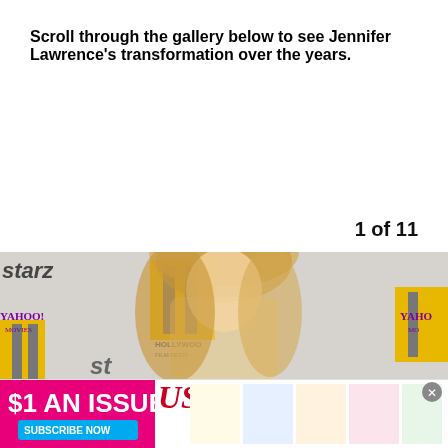Scroll through the gallery below to see Jennifer Lawrence's transformation over the years.
1 of 11
[Figure (photo): Jennifer Lawrence posing at a Hollywood Film Festival event with Starz and Yahoo Movies branding on the backdrop.]
[Figure (photo): Advertisement banner reading '$1 AN ISSUE' with US magazine logo and celebrity images, with a Subscribe Now button.]